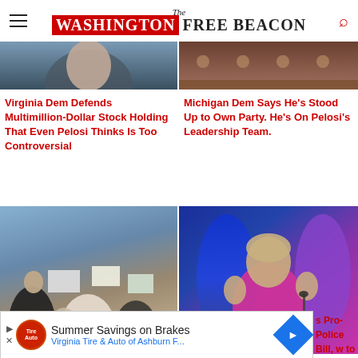The Washington Free Beacon
[Figure (photo): Partial photo of a person, top portion of article thumbnail, left column]
Virginia Dem Defends Multimillion-Dollar Stock Holding That Even Pelosi Thinks Is Too Controversial
[Figure (photo): Partial photo showing a decorative ceiling or wall, top portion of article thumbnail, right column]
Michigan Dem Says He's Stood Up to Own Party. He's On Pelosi's Leadership Team.
[Figure (photo): Crowd of protesters at an outdoor rally holding signs, women in foreground shouting]
[Figure (photo): Nancy Pelosi in pink blazer speaking at a press conference, gesturing with hands]
Summer Savings on Brakes — Virginia Tire & Auto of Ashburn F... (Advertisement)
s Pro-Police Bill, w to Vulnerable Dems
Two Days Later, It Changed Its Mind.